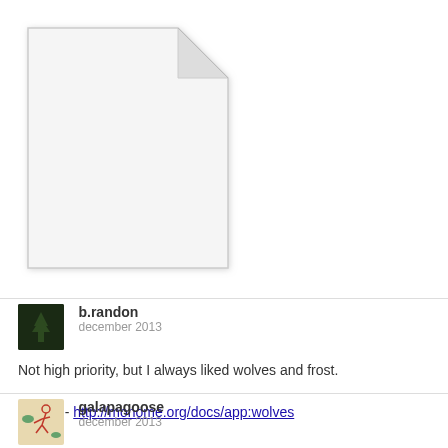[Figure (illustration): A blank/empty document file icon with folded top-right corner, white fill with light gray border and shadow.]
b.randon
december 2013
Not high priority, but I always liked wolves and frost.

wolves - http://monome.org/docs/app:wolves

frost - http://monome.org/docs/app:frost
galapagoose
december 2013
updated at the link above

mlr_aes
wolves
frost